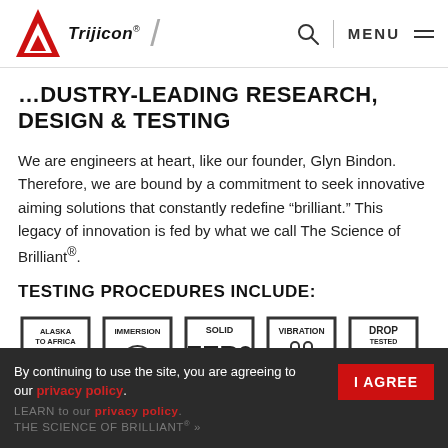Trijicon | MENU
INDUSTRY-LEADING RESEARCH, DESIGN & TESTING
We are engineers at heart, like our founder, Glyn Bindon. Therefore, we are bound by a commitment to seek innovative aiming solutions that constantly redefine “brilliant.” This legacy of innovation is fed by what we call The Science of Brilliant®.
TESTING PROCEDURES INCLUDE:
[Figure (illustration): Five shield-shaped badges: ALASKA TO AFRICA TESTED, IMMERSION TESTED, SOLID ZERO TESTED, VIBRATION TESTED, DROP TESTED]
By continuing to use the site, you are agreeing to our privacy policy. | I AGREE | LEARN THE SCIENCE OF BRILLIANT